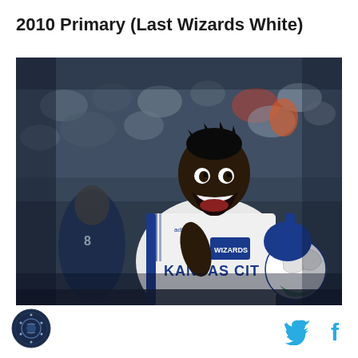2010 Primary (Last Wizards White)
[Figure (photo): Soccer player wearing a white Kansas City Wizards jersey with blue Adidas stripes celebrating with mouth open wide, holding a soccer ball, with crowd and another player visible in background]
[Figure (logo): Circular sports website logo with baseball/sports imagery]
[Figure (other): Twitter bird icon in light blue and Facebook f icon in light blue social media sharing buttons]